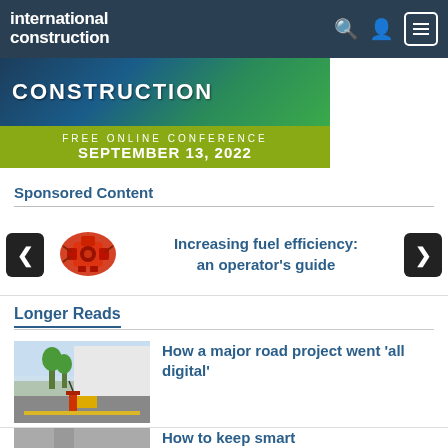international construction
[Figure (infographic): Banner for a free online conference about green construction on September 13, 2022]
Sponsored Content
[Figure (illustration): Red engine graphic next to sponsored article about increasing fuel efficiency]
Increasing fuel efficiency: an operator's guide
Longer Reads
[Figure (photo): Photo of a road construction/digital scanning scene with equipment on a road]
How a major road project went 'all digital'
[Figure (photo): Partial photo of a crane or construction equipment, grey tones]
How to keep smart